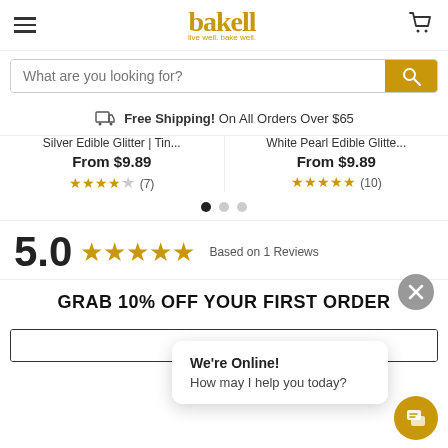bakell — live well. bake well.
What are you looking for?
Free Shipping! On All Orders Over $65
Silver Edible Glitter | Tin... From $9.89 ★★★★☆ (7)
White Pearl Edible Glitte... From $9.89 ★★★★★ (10)
[Figure (other): Carousel navigation dots — three dots, first filled black]
5.0 ★★★★★ Based on 1 Reviews
GRAB 10% OFF YOUR FIRST ORDER
We're Online! How may I help you today?